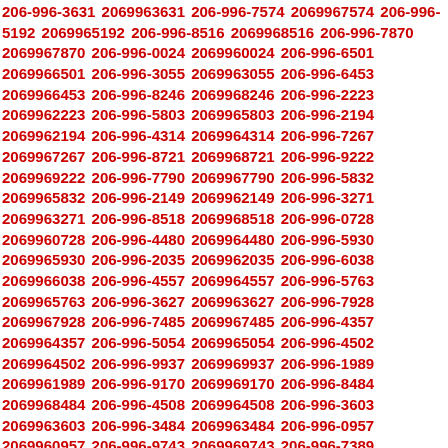206-996-3631 2069963631 206-996-7574 2069967574 206-996-5192 2069965192 206-996-8516 2069968516 206-996-7870 2069967870 206-996-0024 2069960024 206-996-6501 2069966501 206-996-3055 2069963055 206-996-6453 2069966453 206-996-8246 2069968246 206-996-2223 2069962223 206-996-5803 2069965803 206-996-2194 2069962194 206-996-4314 2069964314 206-996-7267 2069967267 206-996-8721 2069968721 206-996-9222 2069969222 206-996-7790 2069967790 206-996-5832 2069965832 206-996-2149 2069962149 206-996-3271 2069963271 206-996-8518 2069968518 206-996-0728 2069960728 206-996-4480 2069964480 206-996-5930 2069965930 206-996-2035 2069962035 206-996-6038 2069966038 206-996-4557 2069964557 206-996-5763 2069965763 206-996-3627 2069963627 206-996-7928 2069967928 206-996-7485 2069967485 206-996-4357 2069964357 206-996-5054 2069965054 206-996-4502 2069964502 206-996-9937 2069969937 206-996-1989 2069961989 206-996-9170 2069969170 206-996-8484 2069968484 206-996-4508 2069964508 206-996-3603 2069963603 206-996-3484 2069963484 206-996-0957 2069960957 206-996-9743 2069969743 206-996-7389 2069967389 206-996-7076 2069967076 206-996-0992 2069960992 206-996-8806 2069968806 206-996-9883 2069969883 206-996-7306 2069967306 206-996-5163 2069965163 206-996-7704 2069967704 206-996-8589 2069968589 206-996-7846 2069967846 206-996-0707 2069960707 206-996-1782 2069961782 206-996-8221 2069968221 206-996-7984 2069967984 206-996-9089 2069969089 206-996-5191 2069965191 206-996-9433 2069969433 206-996-8531 2069968531 206-996-1887 2069961887 206-996-4344 2069964344 206-996-7302 2069967302